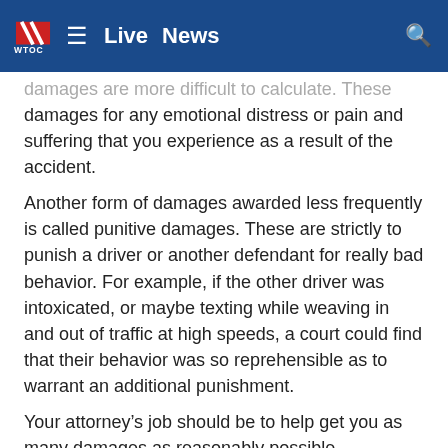WTOC | Live | News
damages are more difficult to calculate. These include damages for any emotional distress or pain and suffering that you experience as a result of the accident.
Another form of damages awarded less frequently is called punitive damages. These are strictly to punish a driver or another defendant for really bad behavior. For example, if the other driver was intoxicated, or maybe texting while weaving in and out of traffic at high speeds, a court could find that their behavior was so reprehensible as to warrant an additional punishment.
Your attorney’s job should be to help get you as many damages as reasonably possible.
Statute Of Limitations
The law imposes a certain time limit to file a claim if you are injured in an accident. Georgia’s statute of repose is...